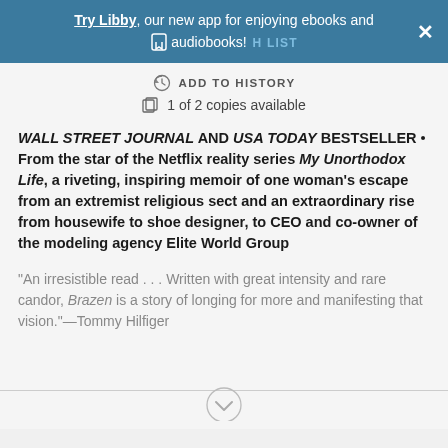Try Libby, our new app for enjoying ebooks and audiobooks!
ADD TO HISTORY
1 of 2 copies available
WALL STREET JOURNAL AND USA TODAY BESTSELLER • From the star of the Netflix reality series My Unorthodox Life, a riveting, inspiring memoir of one woman's escape from an extremist religious sect and an extraordinary rise from housewife to shoe designer, to CEO and co-owner of the modeling agency Elite World Group
“An irresistible read . . . Written with great intensity and rare candor, Brazen is a story of longing for more and manifesting that vision.”—Tommy Hilfiger